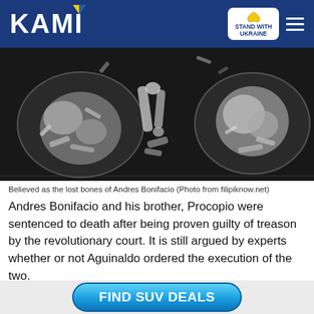KAMI
[Figure (photo): Black and white photograph showing what are believed to be the lost bones of Andres Bonifacio, displayed on plates with separate bone fragments visible between them.]
Believed as the lost bones of Andres Bonifacio (Photo from filipiknow.net)
Andres Bonifacio and his brother, Procopio were sentenced to death after being proven guilty of treason by the revolutionary court. It is still argued by experts whether or not Aguinaldo ordered the execution of the two.
A set of bones was dug up in Nagodon Cavite back in